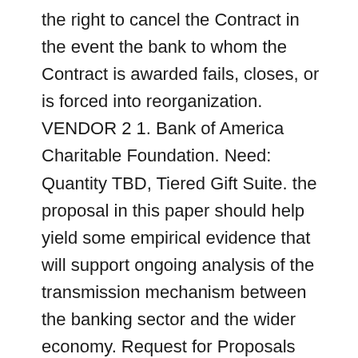the right to cancel the Contract in the event the bank to whom the Contract is awarded fails, closes, or is forced into reorganization. VENDOR 2 1. Bank of America Charitable Foundation. Need: Quantity TBD, Tiered Gift Suite. the proposal in this paper should help yield some empirical evidence that will support ongoing analysis of the transmission mechanism between the banking sector and the wider economy. Request for Proposals (RFP) for Banking Services. We are a membership organization made up of approximately 6, members. IDBI Bank Limited RFP For Core Banking System Upgrade / Migration Page 6 of RFP No: IDBI / PCell /RFP / // Ian Document Control Sheet id